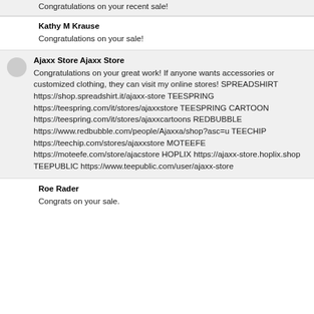Congratulations on your recent sale!
Kathy M Krause
Congratulations on your sale!
Ajaxx Store Ajaxx Store
Congratulations on your great work! If anyone wants accessories or customized clothing, they can visit my online stores! SPREADSHIRT https://shop.spreadshirt.it/ajaxx-store TEESPRING https://teespring.com/it/stores/ajaxxstore TEESPRING CARTOON https://teespring.com/it/stores/ajaxxcartoons REDBUBBLE https://www.redbubble.com/people/Ajaxxa/shop?asc=u TEECHIP https://teechip.com/stores/ajaxxstore MOTEEFE https://moteefe.com/store/ajacstore HOPLIX https://ajaxx-store.hoplix.shop TEEPUBLIC https://www.teepublic.com/user/ajaxx-store
Roe Rader
Congrats on your sale.